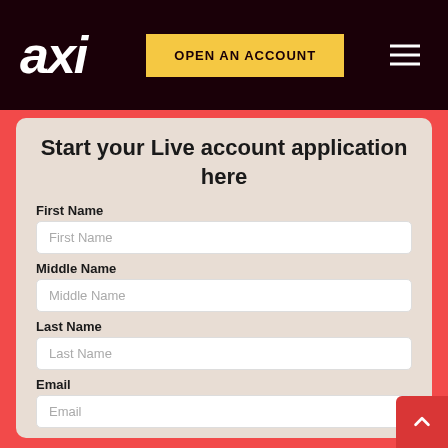axi — OPEN AN ACCOUNT
Start your Live account application here
First Name
Middle Name
Last Name
Email